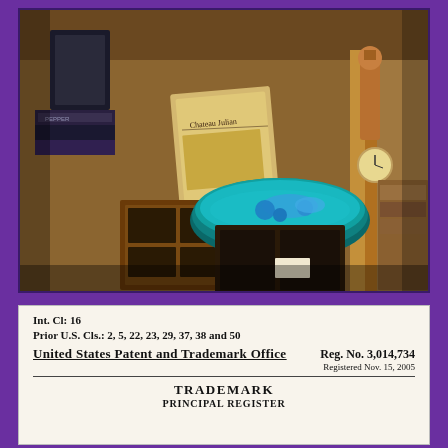[Figure (photo): Photograph of a store display featuring wooden boxes, a teal/blue decorative bowl with glass items, books, a sign reading 'Chateau Julian', and various decorative figurines and merchandise on rustic wooden shelving.]
Int. Cl: 16
Prior U.S. Cls.: 2, 5, 22, 23, 29, 37, 38 and 50
United States Patent and Trademark Office
Reg. No. 3,014,734
Registered Nov. 15, 2005
TRADEMARK
PRINCIPAL REGISTER